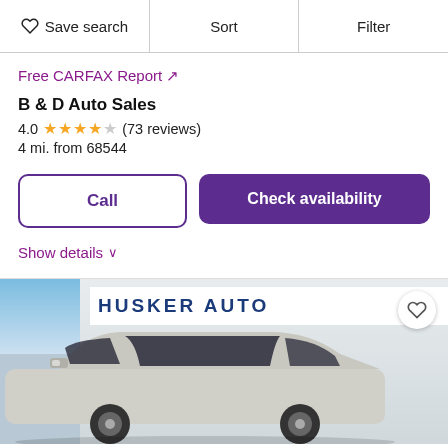♡ Save search  |  Sort  |  Filter
Free CARFAX Report ↗
B & D Auto Sales
4.0 ★★★★☆ (73 reviews)
4 mi. from 68544
Call
Check availability
Show details ∨
[Figure (photo): Exterior photo of a silver/white SUV parked inside a Husker Auto dealership showroom. The dealership sign reading HUSKER AUTO is visible in the background.]